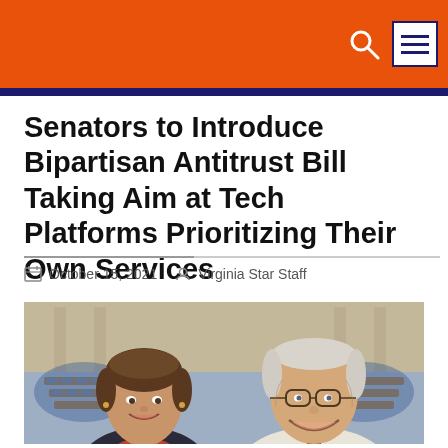Senators to Introduce Bipartisan Antitrust Bill Taking Aim at Tech Platforms Prioritizing Their Own Services
October 15, 2021   Virginia Star Staff
[Figure (photo): Two senators smiling in front of a Senate chamber background — a woman with short brown hair on the left and an older man with glasses on the right]